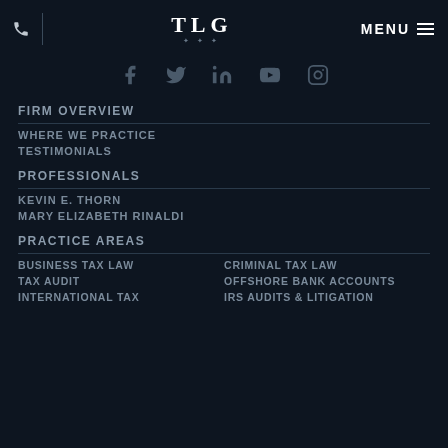TLG | MENU
[Figure (other): Social media icons: Facebook, Twitter, LinkedIn, YouTube, Instagram]
FIRM OVERVIEW
WHERE WE PRACTICE
TESTIMONIALS
PROFESSIONALS
KEVIN E. THORN
MARY ELIZABETH RINALDI
PRACTICE AREAS
BUSINESS TAX LAW
CRIMINAL TAX LAW
TAX AUDIT
OFFSHORE BANK ACCOUNTS
INTERNATIONAL TAX
IRS AUDITS & LITIGATION